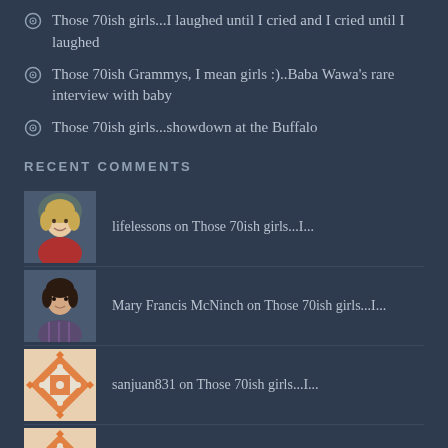Those 70ish girls...I laughed until I cried and I cried until I laughed
Those 70ish Grammys, I mean girls :)..Baba Wawa's rare interview with baby
Those 70ish girls...showdown at the Buffalo
RECENT COMMENTS
lifelessons on Those 70ish girls...I...
Mary Francis McNinch on Those 70ish girls...I...
sanjuan831 on Those 70ish girls...I...
sanjuan831 on Murdo Girl...How would you...
Mary Francis McNinch on Murdo Girl...How would you...